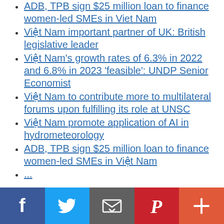ADB, TPB sign $25 million loan to finance women-led SMEs in Viet Nam
Việt Nam important partner of UK: British legislative leader
Việt Nam's growth rates of 6.3% in 2022 and 6.8% in 2023 'feasible': UNDP Senior Economist
Việt Nam to contribute more to multilateral forums upon fulfilling its role at UNSC
Việt Nam promote application of AI in hydrometeorology
ADB, TPB sign $25 million loan to finance women-led SMEs in Việt Nam
(truncated item)
[Figure (infographic): Social sharing bar with Facebook (blue), Twitter (light blue), Email (gray), Pinterest (red), and More/plus (orange-red) buttons]